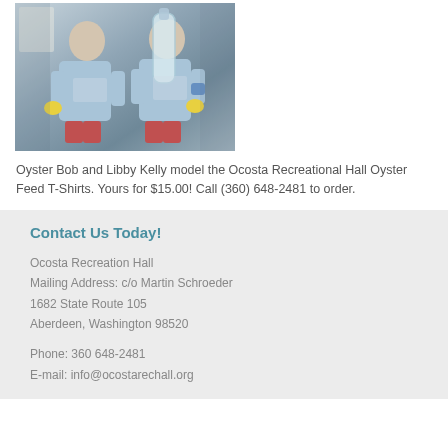[Figure (photo): Two people wearing light blue Ocosta Recreational Hall Oyster Feed T-Shirts, one holding a large clear bottle, standing indoors.]
Oyster Bob and Libby Kelly model the Ocosta Recreational Hall Oyster Feed T-Shirts. Yours for $15.00! Call (360) 648-2481 to order.
Contact Us Today!
Ocosta Recreation Hall
Mailing Address: c/o Martin Schroeder
1682 State Route 105
Aberdeen, Washington 98520
Phone: 360 648-2481
E-mail: info@ocostarechall.org